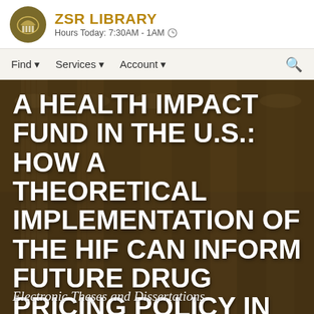ZSR LIBRARY
Hours Today: 7:30AM - 1AM
Find ▾  Services ▾  Account ▾
[Figure (photo): Background photo of architectural columns (classical building facade) in sepia/golden-brown tone]
A HEALTH IMPACT FUND IN THE U.S.: HOW A THEORETICAL IMPLEMENTATION OF THE HIF CAN INFORM FUTURE DRUG PRICING POLICY IN AMERICA
Electronic Theses and Dissertations